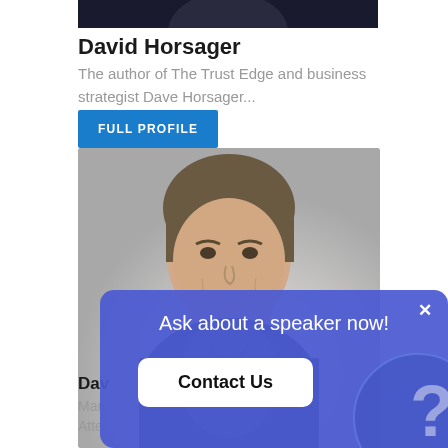[Figure (photo): Top cropped photo of a person, dark background]
David Horsager
The author of The Trust Edge and business strategist Dave Horsager...
FULL PROFILE
[Figure (photo): Professional headshot of a middle-aged man with grey-brown hair wearing a dark shirt, grey background]
Dav
Man
Atte
Ask about a speaker now!
Contact Us